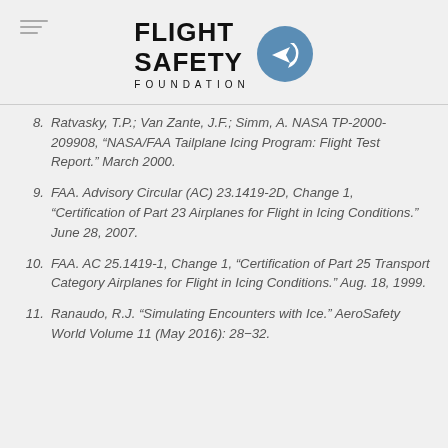[Figure (logo): Flight Safety Foundation logo with circular arrow emblem and text FLIGHT SAFETY FOUNDATION]
8. Ratvasky, T.P.; Van Zante, J.F.; Simm, A. NASA TP-2000-209908, “NASA/FAA Tailplane Icing Program: Flight Test Report.” March 2000.
9. FAA. Advisory Circular (AC) 23.1419-2D, Change 1, “Certification of Part 23 Airplanes for Flight in Icing Conditions.” June 28, 2007.
10. FAA. AC 25.1419-1, Change 1, “Certification of Part 25 Transport Category Airplanes for Flight in Icing Conditions.” Aug. 18, 1999.
11. Ranaudo, R.J. “Simulating Encounters with Ice.” AeroSafety World Volume 11 (May 2016): 28−32.